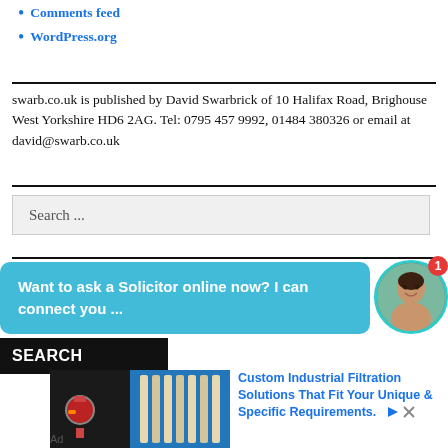Comments feed
WordPress.org
swarb.co.uk is published by David Swarbrick of 10 Halifax Road, Brighouse West Yorkshire HD6 2AG. Tel: 0795 457 9992, 01484 380326 or email at david@swarb.co.uk
[Figure (other): Search input box with placeholder text 'Search ...']
[Figure (other): Chat bubble overlay: 'Want to ask a Solicitor online now? I can connect you ...' with avatar photo and notification badge showing 1]
[Figure (other): Advertisement: Custom Industrial Filtration Solutions That Fit Your Unique & Specific Requirements. Shows industrial filtration equipment photo.]